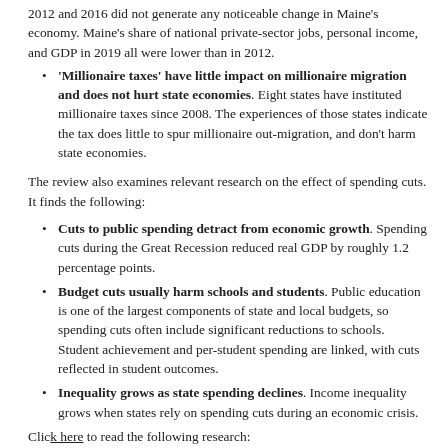2012 and 2016 did not generate any noticeable change in Maine's economy. Maine's share of national private-sector jobs, personal income, and GDP in 2019 all were lower than in 2012.
'Millionaire taxes' have little impact on millionaire migration and does not hurt state economies. Eight states have instituted millionaire taxes since 2008. The experiences of those states indicate the tax does little to spur millionaire out-migration, and don't harm state economies.
The review also examines relevant research on the effect of spending cuts. It finds the following:
Cuts to public spending detract from economic growth. Spending cuts during the Great Recession reduced real GDP by roughly 1.2 percentage points.
Budget cuts usually harm schools and students. Public education is one of the largest components of state and local budgets, so spending cuts often include significant reductions to schools. Student achievement and per-student spending are linked, with cuts reflected in student outcomes.
Inequality grows as state spending declines. Income inequality grows when states rely on spending cuts during an economic crisis.
Click here to read the following research: